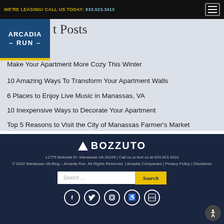WE'RE LEASING! CALL US TODAY: 833.923.3410
Recent Posts
Make Your Apartment More Cozy This Winter
10 Amazing Ways To Transform Your Apartment Walls
6 Places to Enjoy Live Music in Manassas, VA
10 Inexpensive Ways to Decorate Your Apartment
Top 5 Reasons to Visit the City of Manassas Farmer's Market
[Figure (logo): Bozzuto company logo with triangle icon]
11775 Boltonia Dr. Manassas VA 20109 | Call us or text us at 833.923.3410
© 2022 Manassas VA Blog – Arcadia Run. All Rights Reserved. | Arcadia Companies | Privacy Policy | Disclaimer